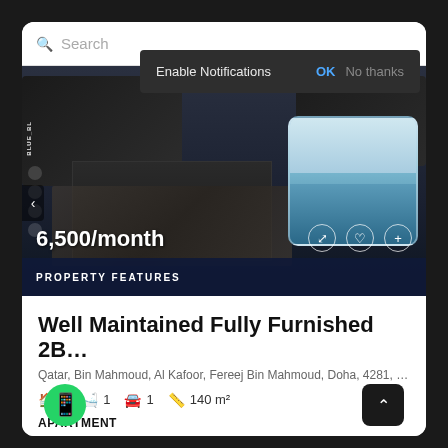[Figure (screenshot): Mobile app property listing screenshot with search bar, notification popup, property photo with living room and pool thumbnail, price overlay, and listing details]
Search
Enable Notifications
OK
No thanks
6,500/month
PROPERTY FEATURES
Well Maintained Fully Furnished 2B…
Qatar, Bin Mahmoud, Al Kafoor, Fereej Bin Mahmoud, Doha, 4281, …
2  1  1  140 m²
APARTMENT